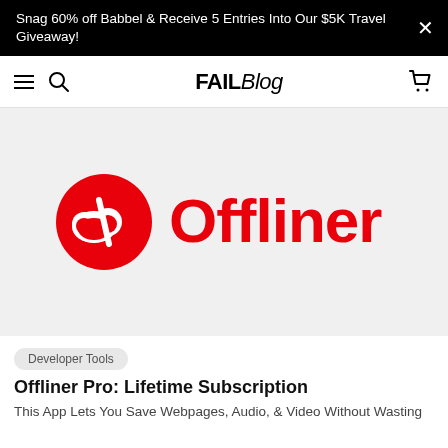Snag 60% off Babbel & Receive 5 Entries Into Our $5K Travel Giveaway!
[Figure (logo): FAILBlog website navigation bar with hamburger menu, search icon, FAILBlog logo, and cart icon]
[Figure (logo): Offliner app logo - red circle with cloud and slash icon next to bold red Offliner text, on light grey background]
Developer Tools
Offliner Pro: Lifetime Subscription
This App Lets You Save Webpages, Audio, & Video Without Wasting